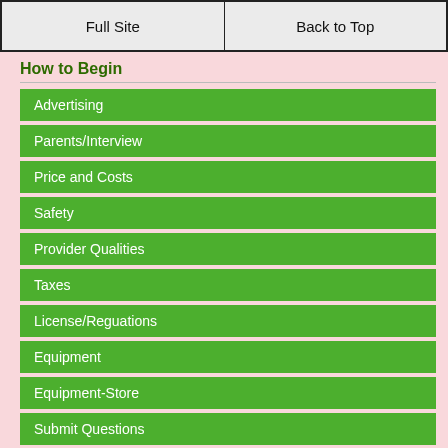Full Site | Back to Top
How to Begin
Advertising
Parents/Interview
Price and Costs
Safety
Provider Qualities
Taxes
License/Reguations
Equipment
Equipment-Store
Submit Questions
Nap Time
Baby Naptime
Toddler sleep issues
Developmental
Potty Training
Newborns